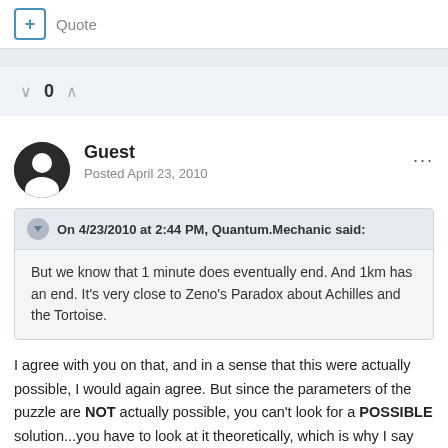+ Quote
0
Guest
Posted April 23, 2010
On 4/23/2010 at 2:44 PM, Quantum.Mechanic said:
But we know that 1 minute does eventually end. And 1km has an end. It's very close to Zeno's Paradox about Achilles and the Tortoise.
I agree with you on that, and in a sense that this were actually possible, I would again agree. But since the parameters of the puzzle are NOT actually possible, you can't look for a POSSIBLE solution...you have to look at it theoretically, which is why I say